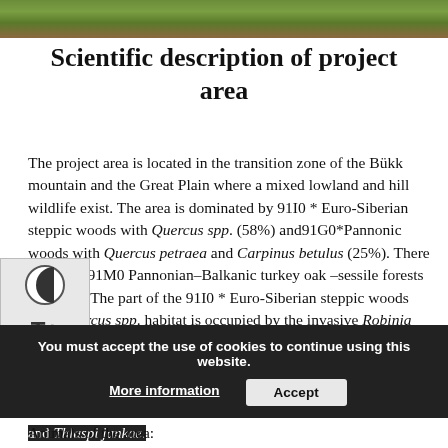[Figure (photo): Forest/nature photo strip at top of page showing green foliage and brown forest floor]
Scientific description of project area
The project area is located in the transition zone of the Bükk mountain and the Great Plain where a mixed lowland and hill wildlife exist. The area is dominated by 91I0 * Euro-Siberian steppic woods with Quercus spp. (58%) and 91G0*Pannonic woods with Quercus petraea and Carpinus betulus (25%). There are some 91M0 Pannonian–Balkanic turkey oak –sessile forests (3%) too. The part of the 91I0 * Euro-Siberian steppic woods with Quercus spp. habitat is occupied by the invasive Robinia pseudoacacia (3%) and by the alien Quercus rubra (6%). Some 40A0 * Subcontinental peri-Pannonic scrub (4%) can also be found. The most important plant species are the Dictamnus albus, Doronicum hungaricum, Iris graminea, Pulsatilla grandis and Thlaspi jankae.
Animals of the area: